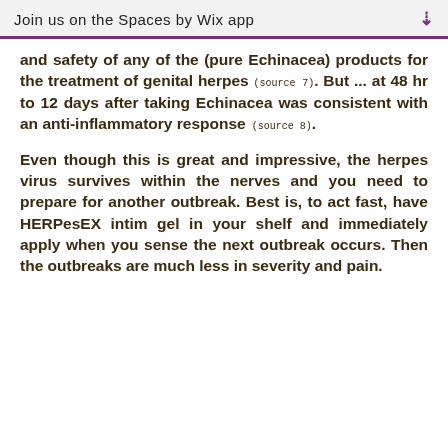Join us on the Spaces by Wix app
and safety of any of the (pure Echinacea) products for the treatment of genital herpes (source 7). But ... at 48 hr to 12 days after taking Echinacea was consistent with an anti-inflammatory response (source 8).
Even though this is great and impressive, the herpes virus survives within the nerves and you need to prepare for another outbreak. Best is, to act fast, have HERPesEX intim gel in your shelf and immediately apply when you sense the next outbreak occurs. Then the outbreaks are much less in severity and pain.